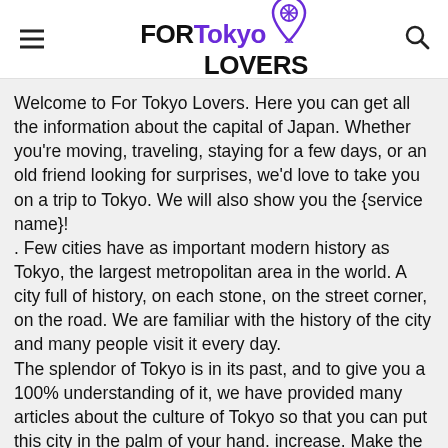FOR Tokyo LOVERS
Welcome to For Tokyo Lovers. Here you can get all the information about the capital of Japan. Whether you're moving, traveling, staying for a few days, or an old friend looking for surprises, we'd love to take you on a trip to Tokyo. We will also show you the {service name}!
. Few cities have as important modern history as Tokyo, the largest metropolitan area in the world. A city full of history, on each stone, on the street corner, on the road. We are familiar with the history of the city and many people visit it every day.
The splendor of Tokyo is in its past, and to give you a 100% understanding of it, we have provided many articles about the culture of Tokyo so that you can put this city in the palm of your hand. increase. Make the most of us to